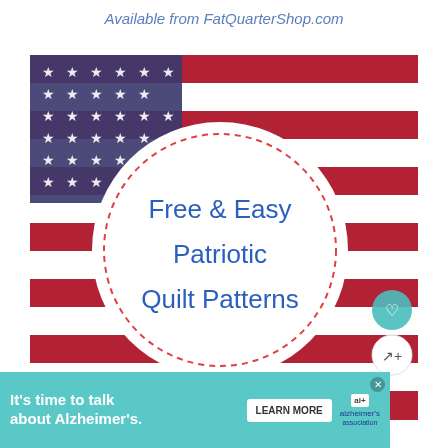Available from FatQuarterShop.com
[Figure (illustration): American flag background with a white circle overlay containing dashed red border and blue text reading 'Free & Easy Patriotic Quilt Patterns'. UI buttons (heart, share, triangle) visible on the right side.]
It's time to talk about Alzheimer's.
LEARN MORE